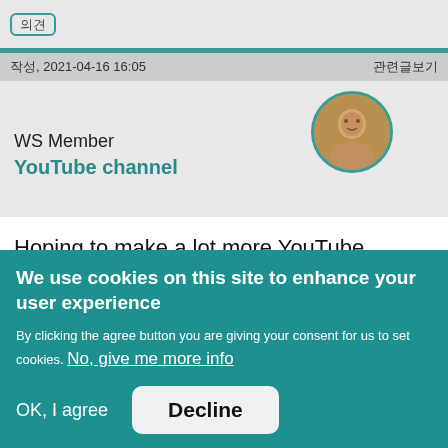[Figure (screenshot): Small icon box with CJK characters, teal border, rounded rectangle]
작성, 2021-04-16 16:05
관련글보기
[Figure (photo): Circular profile avatar photo of a person with teal border]
WS Member
YouTube channel
Hoping to make a lot more YouTube content this
We use cookies on this site to enhance your user experience
By clicking the agree button you are giving your consent for us to set cookies. No, give me more info
OK, I agree
Decline